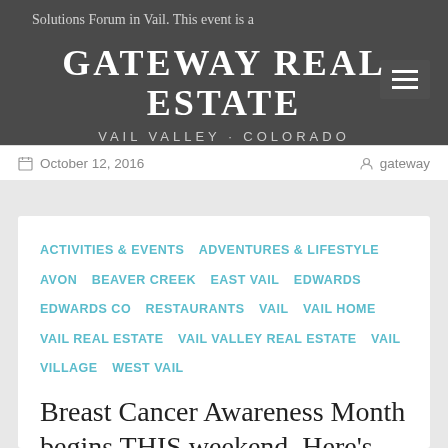Solutions Forum in Vail. This event is a
GATEWAY REAL ESTATE
VAIL VALLEY · COLORADO
October 12, 2016   gateway
ACTIVITIES & EVENTS  ADVENTURES & LIFESTYLE  AVON  BEAVER CREEK  EAST VAIL  EDWARDS  EDWARDS CO  RESTAURANTS  VAIL  VAIL HOME  VAIL REAL ESTATE  VAIL VALLEY REAL ESTATE  VAIL VILLAGE  WEST VAIL
Breast Cancer Awareness Month begins THIS weekend. Here's how you can get involved in the Vail Valley!